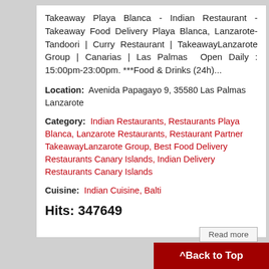Takeaway Playa Blanca - Indian Restaurant - Takeaway Food Delivery Playa Blanca, Lanzarote- Tandoori | Curry Restaurant | TakeawayLanzarote Group | Canarias | Las Palmas Open Daily : 15:00pm-23:00pm. ***Food & Drinks (24h)...
Location: Avenida Papagayo 9, 35580 Las Palmas Lanzarote
Category: Indian Restaurants, Restaurants Playa Blanca, Lanzarote Restaurants, Restaurant Partner TakeawayLanzarote Group, Best Food Delivery Restaurants Canary Islands, Indian Delivery Restaurants Canary Islands
Cuisine: Indian Cuisine, Balti
Hits: 347649
Read more
^ Back to Top